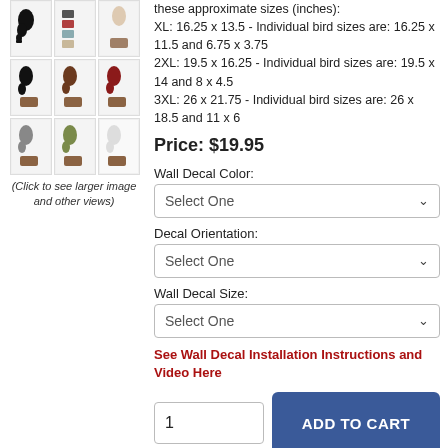[Figure (photo): 3x3 grid of product thumbnail images showing bird wall decals in various colors on furniture backgrounds]
(Click to see larger image and other views)
these approximate sizes (inches):
XL: 16.25 x 13.5 - Individual bird sizes are: 16.25 x 11.5 and 6.75 x 3.75
2XL: 19.5 x 16.25 - Individual bird sizes are: 19.5 x 14 and 8 x 4.5
3XL: 26 x 21.75 - Individual bird sizes are: 26 x 18.5 and 11 x 6
Price: $19.95
Wall Decal Color:
Select One
Decal Orientation:
Select One
Wall Decal Size:
Select One
See Wall Decal Installation Instructions and Video Here
1
ADD TO CART